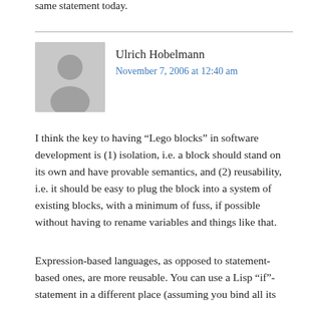same statement today.
[Figure (illustration): Grey avatar silhouette of a person]
Ulrich Hobelmann
November 7, 2006 at 12:40 am
I think the key to having “Lego blocks” in software development is (1) isolation, i.e. a block should stand on its own and have provable semantics, and (2) reusability, i.e. it should be easy to plug the block into a system of existing blocks, with a minimum of fuss, if possible without having to rename variables and things like that.
Expression-based languages, as opposed to statement-based ones, are more reusable. You can use a Lisp “if”-statement in a different place (assuming you bind all its